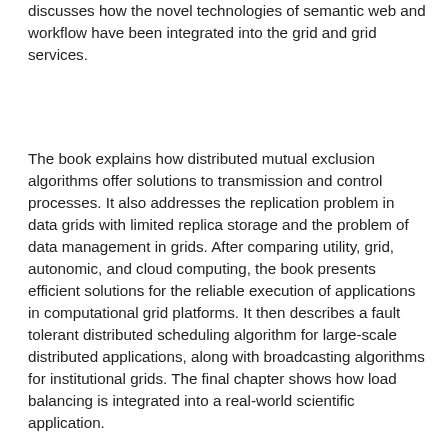discusses how the novel technologies of semantic web and workflow have been integrated into the grid and grid services.
The book explains how distributed mutual exclusion algorithms offer solutions to transmission and control processes. It also addresses the replication problem in data grids with limited replica storage and the problem of data management in grids. After comparing utility, grid, autonomic, and cloud computing, the book presents efficient solutions for the reliable execution of applications in computational grid platforms. It then describes a fault tolerant distributed scheduling algorithm for large-scale distributed applications, along with broadcasting algorithms for institutional grids. The final chapter shows how load balancing is integrated into a real-world scientific application.